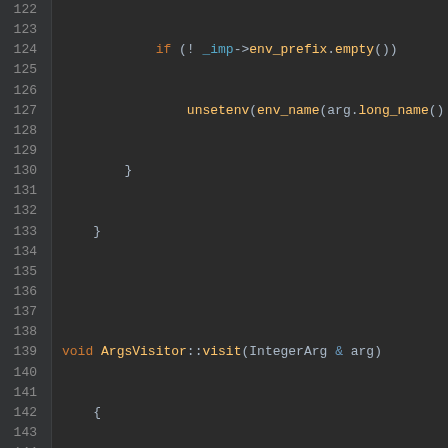[Figure (screenshot): C++ source code editor screenshot with syntax highlighting, lines 122-149. Dark theme IDE showing ArgsVisitor::visit(IntegerArg) function implementation.]